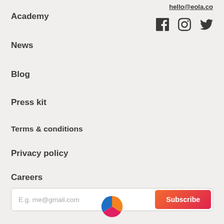hello@eola.co
Academy
News
Blog
Press kit
Terms & conditions
Privacy policy
Careers
[Figure (infographic): Email subscription bar with placeholder text 'E.g. me@gmail.com' and a gradient Subscribe button]
[Figure (logo): Eola logo — circular pie-chart style icon with blue, red/pink, and orange segments]